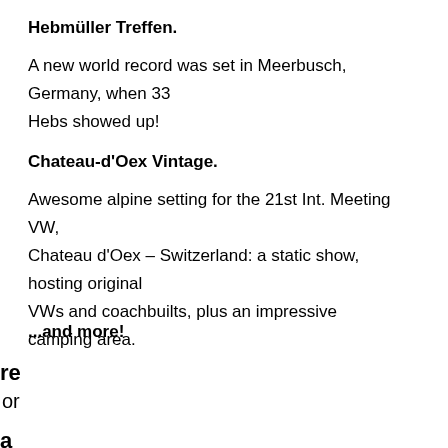Hebmüller Treffen.
A new world record was set in Meerbusch, Germany, when 33 Hebs showed up!
Chateau-d'Oex Vintage.
Awesome alpine setting for the 21st Int. Meeting VW, Chateau d'Oex – Switzerland: a static show, hosting original VWs and coachbuilts, plus an impressive camping area.
...and more!
re
or
a